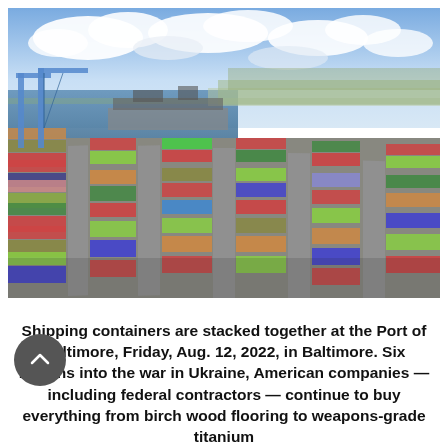[Figure (photo): Aerial view of the Port of Baltimore showing shipping containers stacked in rows with cranes and waterway visible in the background under a partly cloudy sky.]
Shipping containers are stacked together at the Port of Baltimore, Friday, Aug. 12, 2022, in Baltimore. Six months into the war in Ukraine, American companies — including federal contractors — continue to buy everything from birch wood flooring to weapons-grade titanium